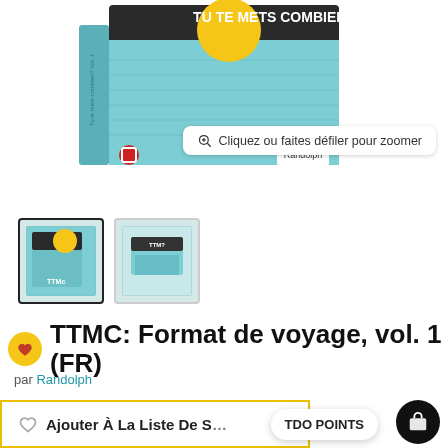[Figure (photo): Product box for TTMC: Format de voyage, vol. 1 (FR) board game by Randolph, teal/turquoise box with yellow circle, text 'TU TE METS COMBIEN?' with zoom hint overlay]
[Figure (photo): Two product thumbnail images: first selected (border), second unselected]
TTMC: Format de voyage, vol. 1 (FR)
par Randolph
Sold out  $24.49
En rupture de stock
Ajouter À La Liste De S…
TDO POINTS